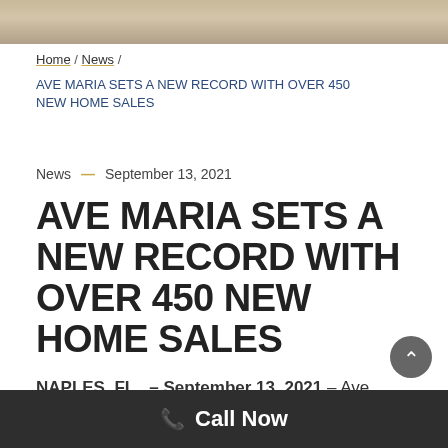[Figure (photo): Partial photo of a home interior at the top of the page]
Home / News /
AVE MARIA SETS A NEW RECORD WITH OVER 450 NEW HOME SALES
News — September 13, 2021
AVE MARIA SETS A NEW RECORD WITH OVER 450 NEW HOME SALES
NAPLES, FL., – September 13, 2021 – Ave Maria , an award-winning master-planned community in
Call Now